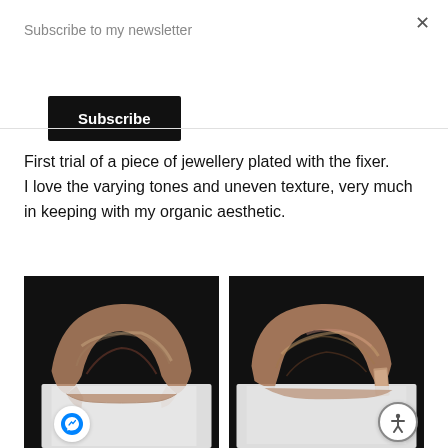Subscribe to my newsletter
Subscribe
First trial of a piece of jewellery plated with the fixer. I love the varying tones and uneven texture, very much in keeping with my organic aesthetic.
[Figure (photo): Two photos of a metal cuff bracelet (jewellery plated with fixer), showing varying tones and uneven texture against a black and white background. Left photo shows the front view, right photo shows a side/angled view.]